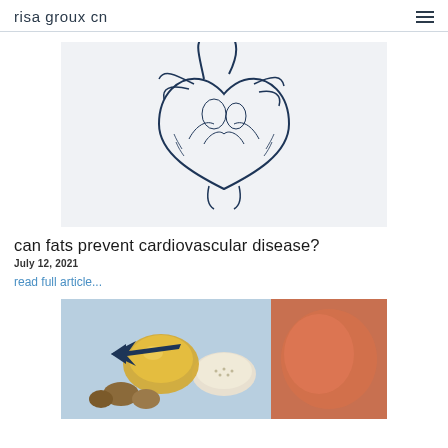risa groux cn
[Figure (illustration): Detailed anatomical sketch illustration of a human heart in dark navy blue ink on light gray background]
can fats prevent cardiovascular disease?
July 12, 2021
read full article...
[Figure (photo): Photo of healthy fats foods: olive oil in a glass bowl, salmon fillet, seeds/grains bowl, nuts, on a light blue background with a dark navy arrow pointing to the olive oil]